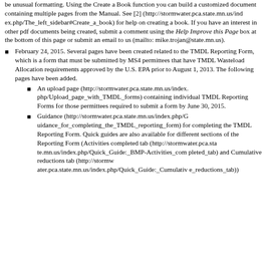be unusual formatting. Using the Create a Book function you can build a customized document containing multiple pages from the Manual. See [2] (http://stormwater.pca.state.mn.us/index.php/The_left_sidebar#Create_a_book) for help on creating a book. If you have an interest in other pdf documents being created, submit a comment using the Help Improve this Page box at the bottom of this page or submit an email to us (mailto:mike.trojan@state.mn.us).
February 24, 2015. Several pages have been created related to the TMDL Reporting Form, which is a form that must be submitted by MS4 permittees that have TMDL Wasteload Allocation requirements approved by the U.S. EPA prior to August 1, 2013. The following pages have been added.
An upload page (http://stormwater.pca.state.mn.us/index.php/Upload_page_with_TMDL_forms) containing individual TMDL Reporting Forms for those permittees required to submit a form by June 30, 2015.
Guidance (http://stormwater.pca.state.mn.us/index.php/Guidance_for_completing_the_TMDL_reporting_form) for completing the TMDL Reporting Form. Quick guides are also available for different sections of the Reporting Form (Activities completed tab (http://stormwater.pca.state.mn.us/index.php/Quick_Guide:_BMP-Activities_completed_tab) and Cumulative reductions tab (http://stormwater.pca.state.mn.us/index.php/Quick_Guide:_Cumulative_reductions_tab))